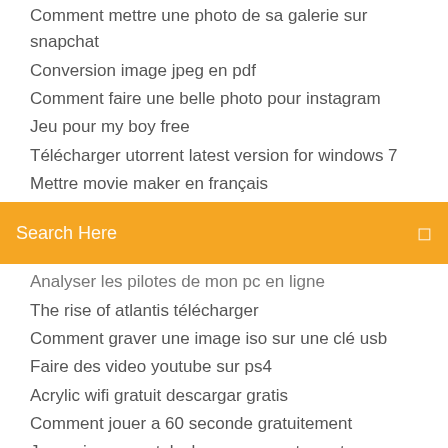Comment mettre une photo de sa galerie sur snapchat
Conversion image jpeg en pdf
Comment faire une belle photo pour instagram
Jeu pour my boy free
Télécharger utorrent latest version for windows 7
Mettre movie maker en français
[Figure (screenshot): Search bar with orange background and 'Search Here' placeholder text]
Analyser les pilotes de mon pc en ligne
The rise of atlantis télécharger
Comment graver une image iso sur une clé usb
Faire des video youtube sur ps4
Acrylic wifi gratuit descargar gratis
Comment jouer a 60 seconde gratuitement
Je narrive pas a telecharger avec utorrent
Jeux pour pc portable gratuit
Holdfast nations at war télécharger
Jeu déchec gratuit contre lordinateur
Spider man web of shadows ps4